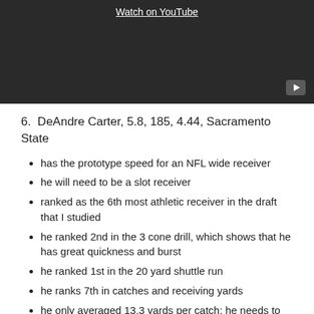[Figure (screenshot): Dark video thumbnail with 'Watch on YouTube' link at the top center and a YouTube play button icon in the bottom right corner.]
6.  DeAndre Carter, 5.8, 185, 4.44, Sacramento State
has the prototype speed for an NFL wide receiver
he will need to be a slot receiver
ranked as the 6th most athletic receiver in the draft that I studied
he ranked 2nd in the 3 cone drill, which shows that he has great quickness and burst
he ranked 1st in the 20 yard shuttle run
he ranks 7th in catches and receiving yards
he only averaged 13.3 yards per catch; he needs to